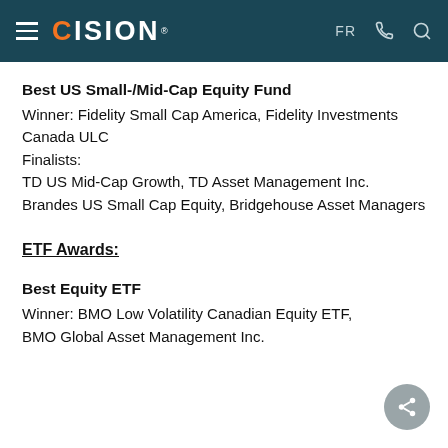CISION — FR
Best US Small-/Mid-Cap Equity Fund
Winner: Fidelity Small Cap America, Fidelity Investments Canada ULC
Finalists:
TD US Mid-Cap Growth, TD Asset Management Inc.
Brandes US Small Cap Equity, Bridgehouse Asset Managers
ETF Awards:
Best Equity ETF
Winner: BMO Low Volatility Canadian Equity ETF, BMO Global Asset Management Inc.